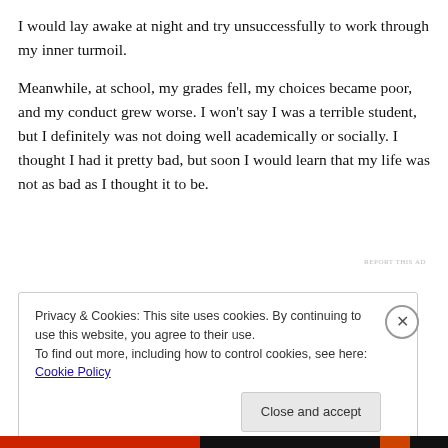I would lay awake at night and try unsuccessfully to work through my inner turmoil.
Meanwhile, at school, my grades fell, my choices became poor, and my conduct grew worse. I won't say I was a terrible student, but I definitely was not doing well academically or socially. I thought I had it pretty bad, but soon I would learn that my life was not as bad as I thought it to be.
REPORT THIS AD
Privacy & Cookies: This site uses cookies. By continuing to use this website, you agree to their use.
To find out more, including how to control cookies, see here: Cookie Policy
Close and accept